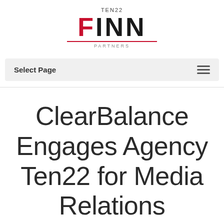[Figure (logo): TEN22 Finn Partners logo — red and black wordmark with horizontal red rule and 'PARTNERS' subtitle]
Select Page
ClearBalance Engages Agency Ten22 for Media Relations Services
Cumming, Ga.   October 9, 2019   Agency